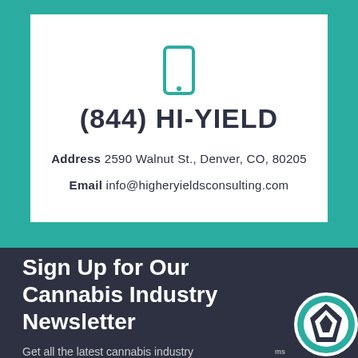[Figure (logo): Teal smartphone/mobile phone icon centered at top of white card]
(844) HI-YIELD
Address 2590 Walnut St., Denver, CO, 80205
Email info@higheryieldsconsulting.com
Sign Up for Our Cannabis Industry Newsletter
Get all the latest cannabis industry
[Figure (logo): WordPress-style circular logo with teal and dark blue color scheme, bottom right corner]